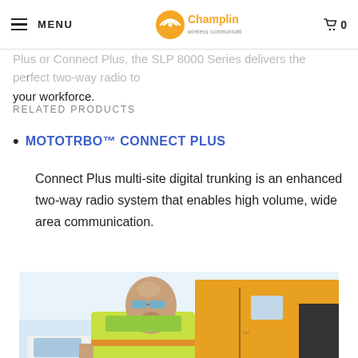MENU | Champlin Wireless Communications | 0
Plus or Connect Plus, the SLP 8000 Series delivers the perfect two-way radio to your workforce.
RELATED PRODUCTS
MOTOTRBO™ CONNECT PLUS
Connect Plus multi-site digital trunking is an enhanced two-way radio system that enables high volume, wide area communication.
[Figure (photo): A construction worker wearing a yellow safety vest and reflective glasses standing in front of heavy equipment and trucks]